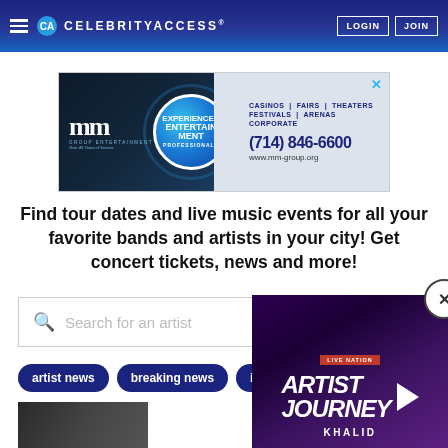CELEBRITYACCESS® — LOGIN | JOIN
[Figure (screenshot): MM Group Entertainment advertisement banner: 'Experienced Entertainment Professionals' — Casinos, Fairs, Theaters, Festivals, Arenas, Corporate — (714) 846-6600 — www.mm-group.org]
Find tour dates and live music events for all your favorite bands and artists in your city! Get concert tickets, news and more!
Search for an artist
artist news
breaking news
industry news
[Figure (screenshot): Live Nation video overlay showing 'ARTIST JOURNEY' with Khalid label at bottom on purple/dark background]